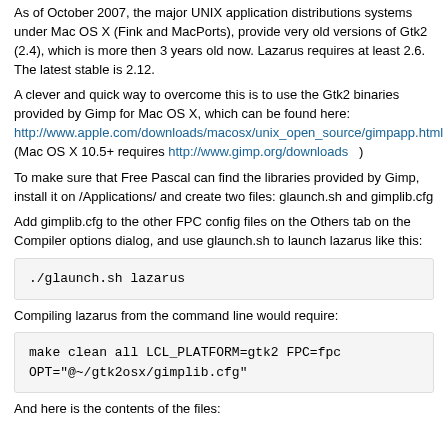As of October 2007, the major UNIX application distributions systems under Mac OS X (Fink and MacPorts), provide very old versions of Gtk2 (2.4), which is more then 3 years old now. Lazarus requires at least 2.6. The latest stable is 2.12.
A clever and quick way to overcome this is to use the Gtk2 binaries provided by Gimp for Mac OS X, which can be found here: http://www.apple.com/downloads/macosx/unix_open_source/gimpapp.html    (Mac OS X 10.5+ requires http://www.gimp.org/downloads  )
To make sure that Free Pascal can find the libraries provided by Gimp, install it on /Applications/ and create two files: glaunch.sh and gimplib.cfg
Add gimplib.cfg to the other FPC config files on the Others tab on the Compiler options dialog, and use glaunch.sh to launch lazarus like this:
./glaunch.sh lazarus
Compiling lazarus from the command line would require:
make clean all LCL_PLATFORM=gtk2 FPC=fpc OPT="@~/gtk2osx/gimplib.cfg"
And here is the contents of the files: